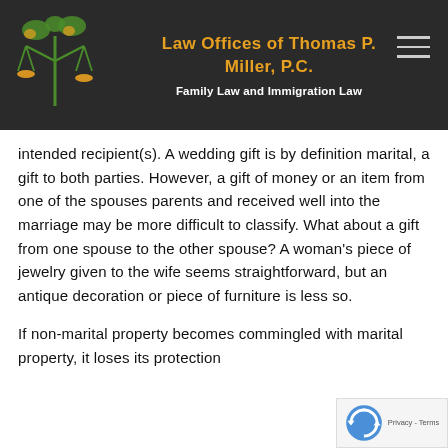[Figure (logo): Law Offices of Thomas P. Miller P.C. logo with scales of justice and green/orange tree of life symbol]
Law Offices of Thomas P. Miller, P.C.
Family Law and Immigration Law
intended recipient(s). A wedding gift is by definition marital, a gift to both parties. However, a gift of money or an item from one of the spouses parents and received well into the marriage may be more difficult to classify. What about a gift from one spouse to the other spouse? A woman's piece of jewelry given to the wife seems straightforward, but an antique decoration or piece of furniture is less so.

If non-marital property becomes commingled with marital property, it loses its protection